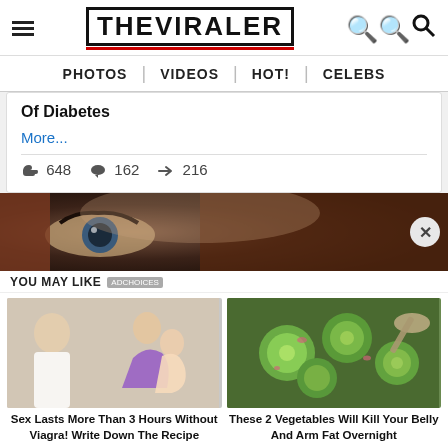THE VIRALER
PHOTOS | VIDEOS | HOT! | CELEBS
Of Diabetes
More...
648  162  216
[Figure (photo): Close-up of a woman's eye with red hair in dark background]
YOU MAY LIKE  ADCHOICES
[Figure (photo): Doctor and couple illustration - Sex Lasts More Than 3 Hours Without Viagra! Write Down The Recipe]
[Figure (photo): Sliced cucumbers salad - These 2 Vegetables Will Kill Your Belly And Arm Fat Overnight]
Sex Lasts More Than 3 Hours Without Viagra! Write Down The Recipe
These 2 Vegetables Will Kill Your Belly And Arm Fat Overnight